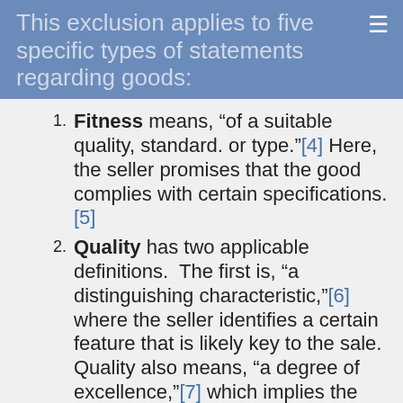This exclusion applies to five specific types of statements regarding goods:
Fitness means, “of a suitable quality, standard. or type.”[4] Here, the seller promises that the good complies with certain specifications.[5]
Quality has two applicable definitions. The first is, “a distinguishing characteristic,”[6] where the seller identifies a certain feature that is likely key to the sale. Quality also means, “a degree of excellence,”[7] which implies the good is somehow better than similar items.